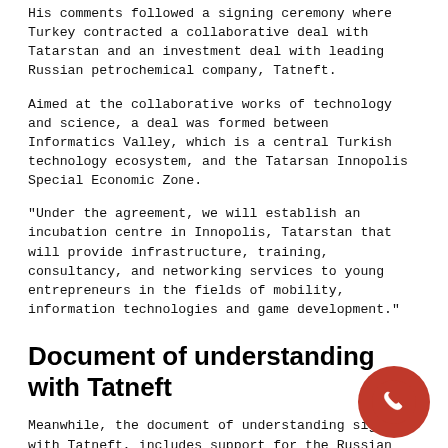His comments followed a signing ceremony where Turkey contracted a collaborative deal with Tatarstan and an investment deal with leading Russian petrochemical company, Tatneft.
Aimed at the collaborative works of technology and science, a deal was formed between Informatics Valley, which is a central Turkish technology ecosystem, and the Tatarsan Innopolis Special Economic Zone.
“Under the agreement, we will establish an incubation centre in Innopolis, Tatarstan that will provide infrastructure, training, consultancy, and networking services to young entrepreneurs in the fields of mobility, information technologies and game development.”
Document of understanding with Tatneft
Meanwhile, the document of understanding signed with Tatneft, includes support for the Russian company plans that they have for a production facility that they are looking to establish in Turkey.
Oktay says: “Like all other investments, Tatneft’s maleic anhydride production facility planned to be established in Turkey is supported by our Ministry and benefits from the incentives.”
[Figure (illustration): Red circular phone/chat button icon in bottom right corner]